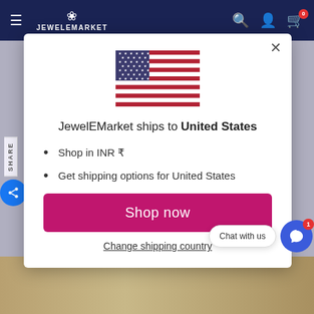JEWELEMARKET
[Figure (screenshot): Modal popup on JewelEMarket website showing US flag, shipping information to United States, bullet points for INR currency and shipping options, a Shop now button, and Change shipping country link]
JewelEMarket ships to United States
Shop in INR ₹
Get shipping options for United States
Shop now
Change shipping country
Chat with us